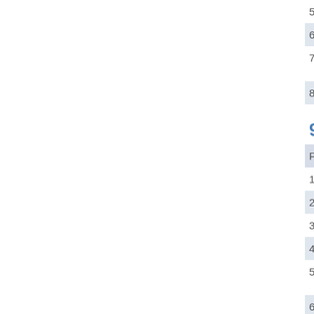| Pl | Name |  |
| --- | --- | --- |
| 5 | RUSSELL ALSOP | SO |
| 6 | Sebastiaan Top | M1 |
| 7 | BERNADETTE GOSSIP | W1 |
| 8 | Marion Johnson | SO |
9 2.00 km 10 C
| Pl | Name |
| --- | --- |
| 1 | Peter Collins |
| 2 | ASHA STEER |
| 3 | MASON ARTHUR |
| 4 | ANNE ROBINSON |
| 5 | EMMA STUART KELLY |
| 6 | RYAN CARBERRY |
| 7 | RUSSELL ALSOP |